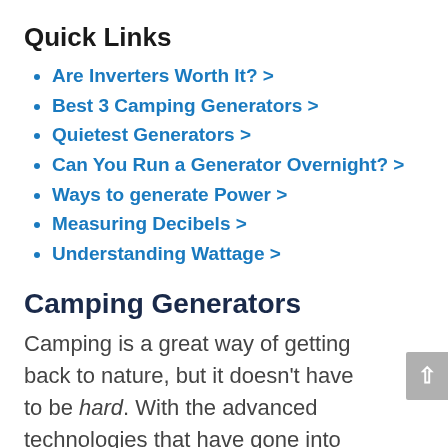Quick Links
Are Inverters Worth It? >
Best 3 Camping Generators >
Quietest Generators >
Can You Run a Generator Overnight? >
Ways to generate Power >
Measuring Decibels >
Understanding Wattage >
Camping Generators
Camping is a great way of getting back to nature, but it doesn't have to be hard. With the advanced technologies that have gone into camping generator manufacture in recent years, the average camping generator